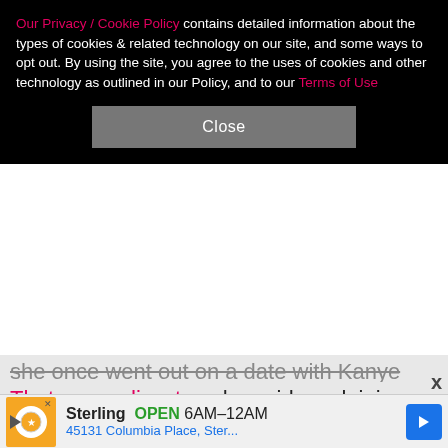Our Privacy / Cookie Policy contains detailed information about the types of cookies & related technology on our site, and some ways to opt out. By using the site, you agree to the uses of cookies and other technology as outlined in our Policy, and to our Terms of Use
Close
she once went out on a date with Kanye West. That was a disaster, she said, explaining that they "ended up going to his house," where she caught him watching "some very explicit things on TV" after he left her alone for a few minutes. "I was just there for five minutes. He left me alone wandering around his house, and then when I followed the noises, he was watching something on TV that he probably shouldn't have been. So that was my exit. As much as I love him, it was just the craziest thing," she recalled.
Sterling  OPEN  6AM–12AM
45131 Columbia Place, Ster...